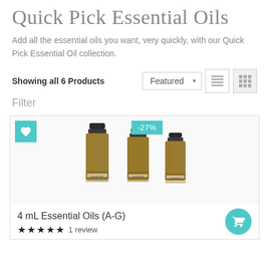Quick Pick Essential Oils
Add all the essential oils you want, very quickly, with our Quick Pick Essential Oil collection.
Showing all 6 Products
[Figure (screenshot): Product card showing three amber essential oil bottles with a -27% discount badge and a teal wishlist heart button. Product title: 4 mL Essential Oils (A-G). Rating: 5 stars, 1 review. Teal cart button bottom right.]